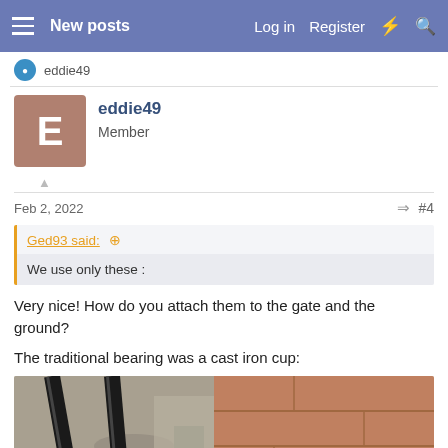New posts  Log in  Register
eddie49
eddie49
Member
Feb 2, 2022  #4
Ged93 said:
We use only these :
Very nice! How do you attach them to the gate and the ground?

The traditional bearing was a cast iron cup:
[Figure (photo): Photo of metal gate bars against stone/brick ground, showing a cast iron cup bearing area]